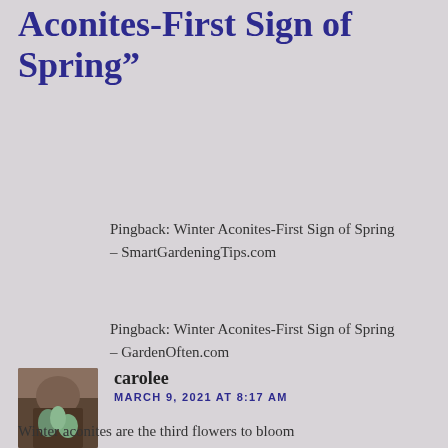Aconites-First Sign of Spring”
Pingback: Winter Aconites-First Sign of Spring – SmartGardeningTips.com
Pingback: Winter Aconites-First Sign of Spring – GardenOften.com
carolee
MARCH 9, 2021 AT 8:17 AM
Winter aconites are the third flowers to bloom